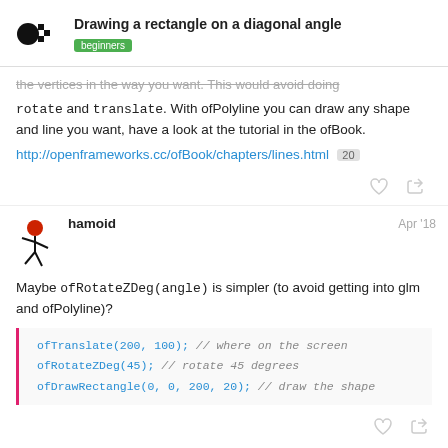Drawing a rectangle on a diagonal angle | beginners
the vertices in the way you want. This would avoid doing rotate and translate. With ofPolyline you can draw any shape and line you want, have a look at the tutorial in the ofBook.
http://openframeworks.cc/ofBook/chapters/lines.html 20
hamoid  Apr '18
Maybe ofRotateZDeg(angle) is simpler (to avoid getting into glm and ofPolyline)?
ofTranslate(200, 100); // where on the screen
ofRotateZDeg(45); // rotate 45 degrees
ofDrawRectangle(0, 0, 200, 20); // draw the shape